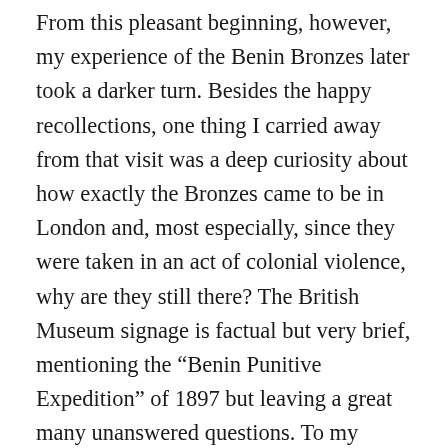From this pleasant beginning, however, my experience of the Benin Bronzes later took a darker turn. Besides the happy recollections, one thing I carried away from that visit was a deep curiosity about how exactly the Bronzes came to be in London and, most especially, since they were taken in an act of colonial violence, why are they still there? The British Museum signage is factual but very brief, mentioning the “Benin Punitive Expedition” of 1897 but leaving a great many unanswered questions. To my surprise, an authoritative history of this episode of British Empire history was not then readily available, so I resolved that some day I would write one.
Happily, although it took me longer than expected, I can